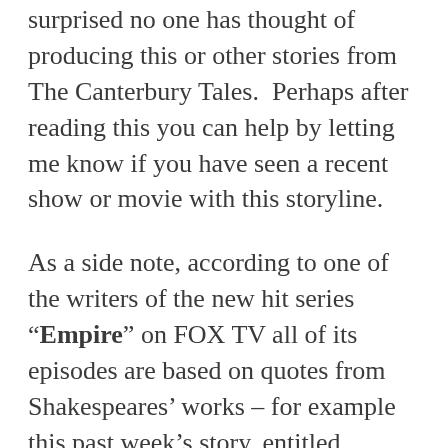surprised no one has thought of producing this or other stories from The Canterbury Tales.  Perhaps after reading this you can help by letting me know if you have seen a recent show or movie with this storyline.
As a side note, according to one of the writers of the new hit series “Empire” on FOX TV all of its episodes are based on quotes from Shakespeares’ works – for example this past week’s story, entitled “Dangerous Bonds” comes from Act 3 Scene 2 of “Cymbeline,” another story about mistaken identity